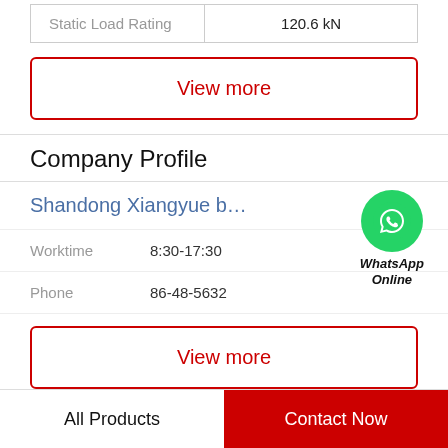|  |  |
| --- | --- |
| Static Load Rating | 120.6 kN |
View more
Company Profile
Shandong Xiangyue bearing Trading Co., L...
[Figure (logo): WhatsApp green circle icon with phone handset, labeled WhatsApp Online below]
Worktime   8:30-17:30
Phone   86-48-5632
View more
All Products
Contact Now